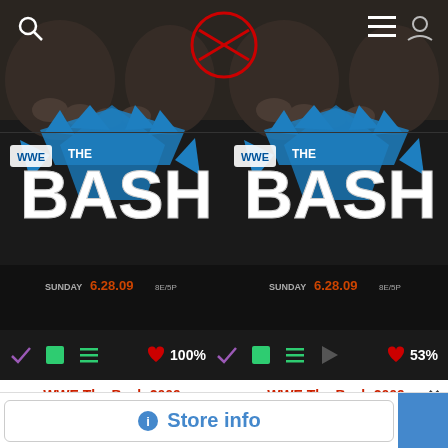[Figure (screenshot): WWE The Bash 2009 app screenshot showing two poster thumbnails side by side with icon bars, titles, and a Google Maps overlay with Store info button]
WWE The Bash 2009
WWE The Bash 2009
2009
2009
100%
53%
Store info
Leesburg Premium Outlets
Suites Leesburg